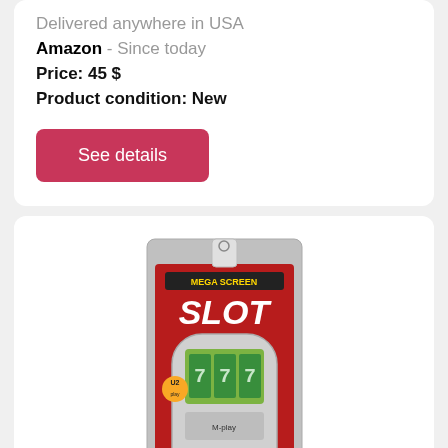Delivered anywhere in USA
Amazon  - Since today
Price: 45 $
Product condition: New
See details
[Figure (photo): Handheld Mega Screen Slot Machine game in retail packaging, showing a device with digital display and control buttons.]
Mega Screen Slot Machine Handheld